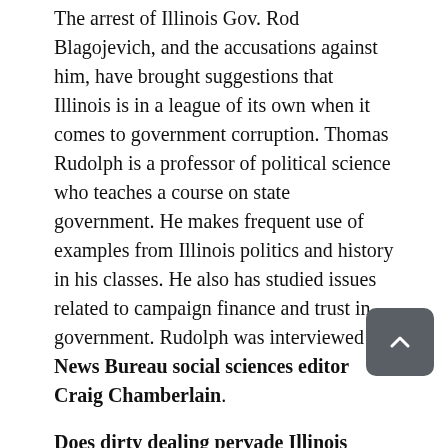The arrest of Illinois Gov. Rod Blagojevich, and the accusations against him, have brought suggestions that Illinois is in a league of its own when it comes to government corruption. Thomas Rudolph is a professor of political science who teaches a course on state government. He makes frequent use of examples from Illinois politics and history in his classes. He also has studied issues related to campaign finance and trust in government. Rudolph was interviewed by News Bureau social sciences editor Craig Chamberlain.
Does dirty dealing pervade Illinois politics, from small towns to the Statehouse, or is it an exception that has become perceived as the rule because of high-profile cases such as Blagojevich's?
Political corruption in Illinois has, historically speaking, not been limited to the governor's office. Nor is corruption solely a recent phenomenon. There are well